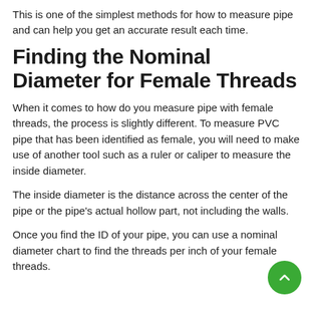This is one of the simplest methods for how to measure pipe and can help you get an accurate result each time.
Finding the Nominal Diameter for Female Threads
When it comes to how do you measure pipe with female threads, the process is slightly different. To measure PVC pipe that has been identified as female, you will need to make use of another tool such as a ruler or caliper to measure the inside diameter.
The inside diameter is the distance across the center of the pipe or the pipe's actual hollow part, not including the walls.
Once you find the ID of your pipe, you can use a nominal diameter chart to find the threads per inch of your female threads.